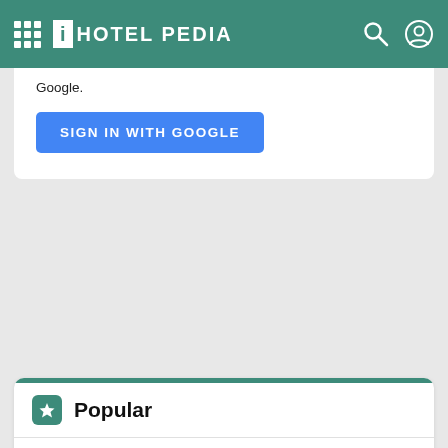HOTEL PEDIA
Google.
SIGN IN WITH GOOGLE
Popular
PAVG9 Vavara 9 - Review, Picture, Prices & Deals
PAVG9 Vavara 9 is one of the 4 star hotels in Paralimni, this hotel is located in a strategic place...
Alpenhotel Karwendel -Adults only- - Room Prices, Deals & Review
Alpenhotel Karwendel -Adults only- in Leutasch (Austria). Leutasch is a city that is a domestic...